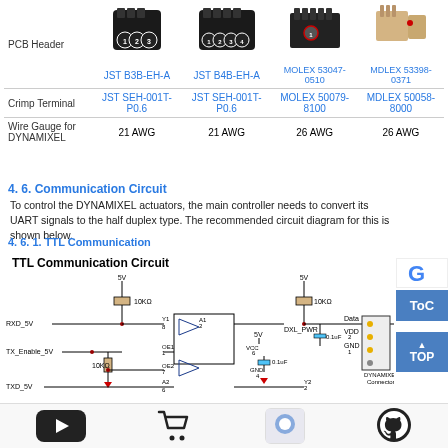|  | JST B3B-EH-A | JST B4B-EH-A | MOLEX 53047-0510 | MDLEX 53398-0371 |
| --- | --- | --- | --- | --- |
| PCB Header | [image] | [image] | [image] | [image] |
| Crimp Terminal | JST SEH-001T-P0.6 | JST SEH-001T-P0.6 | MOLEX 50079-8100 | MDLEX 50058-8000 |
| Wire Gauge for DYNAMIXEL | 21 AWG | 21 AWG | 26 AWG | 26 AWG |
4. 6. Communication Circuit
To control the DYNAMIXEL actuators, the main controller needs to convert its UART signals to the half duplex type. The recommended circuit diagram for this is shown below.
4. 6. 1. TTL Communication
TTL Communication Circuit
[Figure (circuit-diagram): TTL Communication Circuit schematic showing RXD_5V, TX_Enable_5V, TXD_5V inputs through buffer IC with 10KΩ resistors and 0.1uF capacitors, 5V power rails, and DYNAMIXEL Connector outputs (Data, VDD, GND)]